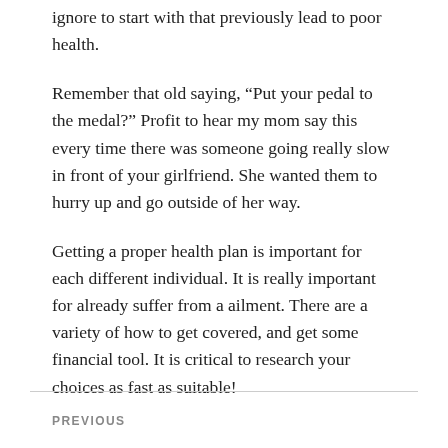ignore to start with that previously lead to poor health.
Remember that old saying, “Put your pedal to the medal?” Profit to hear my mom say this every time there was someone going really slow in front of your girlfriend. She wanted them to hurry up and go outside of her way.
Getting a proper health plan is important for each different individual. It is really important for already suffer from a ailment. There are a variety of how to get covered, and get some financial tool. It is critical to research your choices as fast as suitable!
PREVIOUS